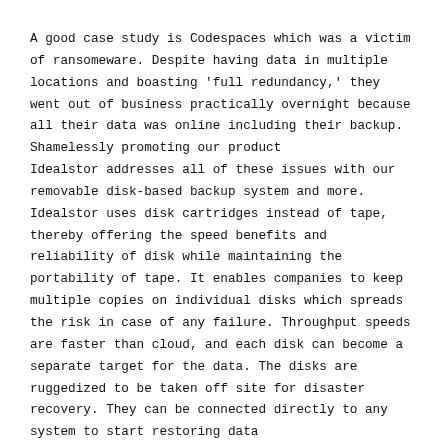A good case study is Codespaces which was a victim of ransomeware. Despite having data in multiple locations and boasting 'full redundancy,' they went out of business practically overnight because all their data was online including their backup.
Shamelessly promoting our product
Idealstor addresses all of these issues with our removable disk-based backup system and more. Idealstor uses disk cartridges instead of tape, thereby offering the speed benefits and reliability of disk while maintaining the portability of tape. It enables companies to keep multiple copies on individual disks which spreads the risk in case of any failure. Throughput speeds are faster than cloud, and each disk can become a separate target for the data. The disks are ruggedized to be taken off site for disaster recovery. They can be connected directly to any system to start restoring data